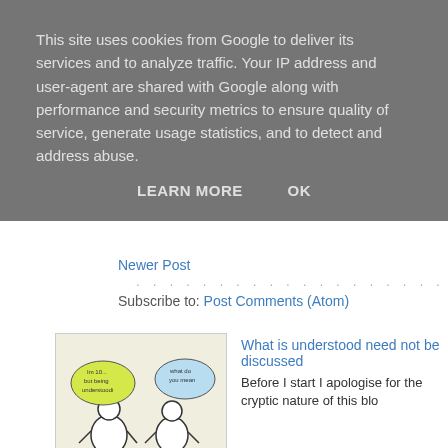This site uses cookies from Google to deliver its services and to analyze traffic. Your IP address and user-agent are shared with Google along with performance and security metrics to ensure quality of service, generate usage statistics, and to detect and address abuse.
LEARN MORE    OK
Newer Post
Subscribe to: Post Comments (Atom)
[Figure (illustration): Cartoon illustration of two figures with speech bubbles, one yellow saying something about being understood]
What is understood need not be discussed
Before I start I apologise for the cryptic nature of this blo
[Figure (photo): Photo of a broken red heart with a bandage]
Hurt
I'm caught between a rock and a hard place. My local au